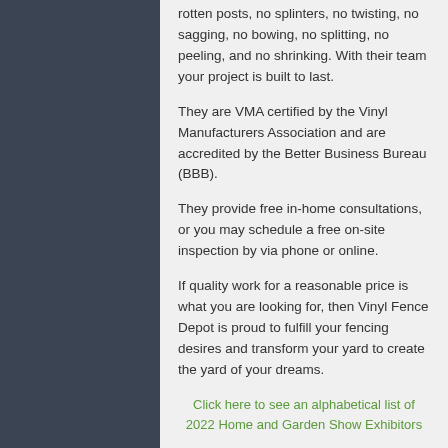rotten posts, no splinters, no twisting, no sagging, no bowing, no splitting, no peeling, and no shrinking. With their team your project is built to last.
They are VMA certified by the Vinyl Manufacturers Association and are accredited by the Better Business Bureau (BBB).
They provide free in-home consultations, or you may schedule a free on-site inspection by via phone or online.
If quality work for a reasonable price is what you are looking for, then Vinyl Fence Depot is proud to fulfill your fencing desires and transform your yard to create the yard of your dreams.
Click here to see an alphabetical list of 2022 Home and Garden Show Exhibitors